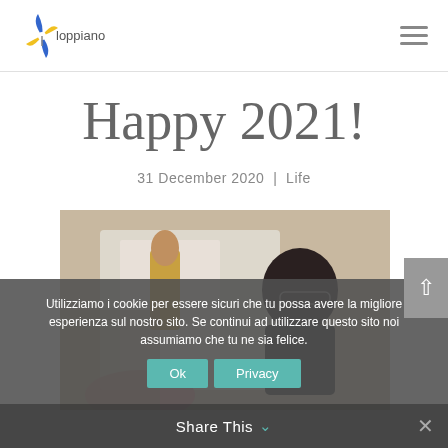[Figure (logo): Loppiano website logo — colorful flower/windmill icon with 'loppiano' text]
Happy 2021!
31 December 2020 | Life
[Figure (photo): A child looking at a nativity scene figure, indoors]
Utilizziamo i cookie per essere sicuri che tu possa avere la migliore esperienza sul nostro sito. Se continui ad utilizzare questo sito noi assumiamo che tu ne sia felice.
Ok   Privacy
Share This